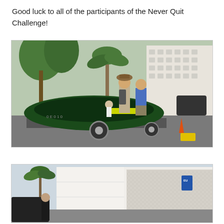Good luck to all of the participants of the Never Quit Challenge!
[Figure (photo): Outdoor parking lot scene. Two people stand on top of a jet ski mounted on a trailer. One wears a hat and backpack, the other wears a blue shirt. A yellow safety cone is visible on the right. A hotel building and palm trees are in the background.]
[Figure (photo): Street scene with a white multi-story building in the background. A person in dark clothing stands near a vehicle on the left. A blue sign is partially visible on the building. Palm trees are in the background.]